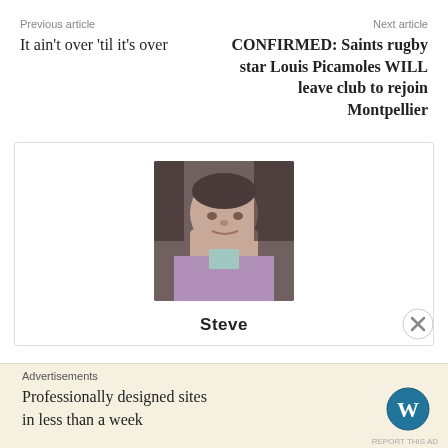Previous article
It ain't over 'til it's over
Next article
CONFIRMED: Saints rugby star Louis Picamoles WILL leave club to rejoin Montpellier
[Figure (photo): Headshot photo of a man named Steve, tilted angle]
Steve
Advertisements
Professionally designed sites in less than a week